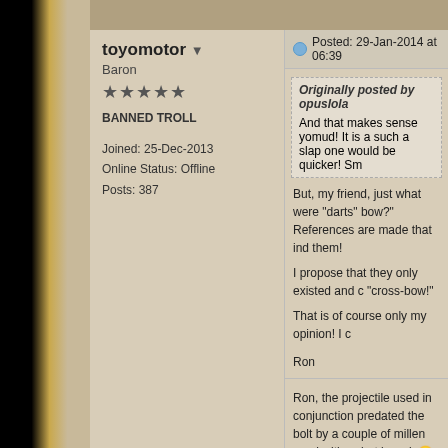toyomotor ▼
Baron
★★★★★
BANNED TROLL
Joined: 25-Dec-2013
Online Status: Offline
Posts: 387
Posted: 29-Jan-2014 at 06:39
Originally posted by opuslola
And that makes sense yomud! It is a such a slap one would be quicker! Sm
But, my friend, just what were "darts" bow?" References are made that ind them!
I propose that they only existed and c "cross-bow!"
That is of course only my opinion! I c
Ron
Ron, the projectile used in conjunction predated the bolt by a couple of millen used with a dart board. 🙂